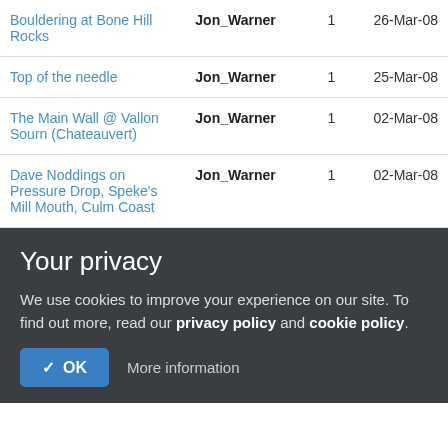| Bouldering at Bone Hill Rocks | Jon_Warner | 1 | 26-Mar-08 |
| Top of the needle | Jon_Warner | 1 | 25-Mar-08 |
| The Main Wall @ Vallon Sourn (Chateauvert) | Jon_Warner | 1 | 02-Mar-08 |
| Dave Noddings on Pressure Drop, Speke's Mill Mouth, Culm Coast | Jon_Warner | 1 | 02-Mar-08 |
Your privacy
We use cookies to improve your experience on our site. To find out more, read our privacy policy and cookie policy.
OK   More information